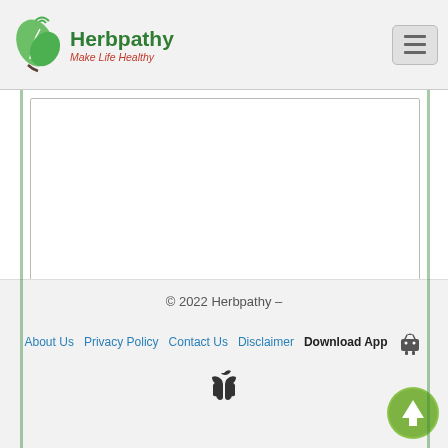[Figure (logo): Herbpathy logo with green leaf and text 'Herbpathy Make Life Healthy']
[Note: You are requested to write correct English only. Please do not use SMS English, Short Text and Words like hi, hello.]
Name
Enter Text
Country / State
© 2022 Herbpathy – About Us  Privacy Policy  Contact Us  Disclaimer  Download App